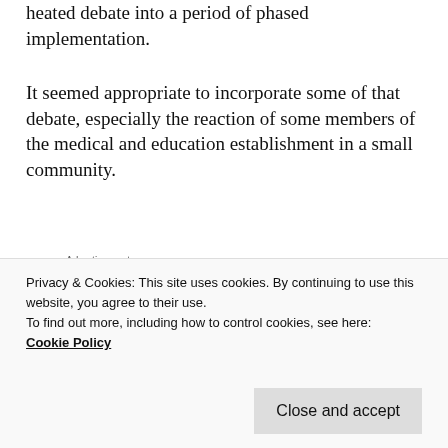heated debate into a period of phased implementation.
It seemed appropriate to incorporate some of that debate, especially the reaction of some members of the medical and education establishment in a small community.
[Figure (other): Advertisement banner: dark navy background with bonsai tree icon, green text 'Launch your online course with WordPress', white 'Learn More' button. Labeled 'Advertisements' above.]
to make it possible for regular contact with his
Privacy & Cookies: This site uses cookies. By continuing to use this website, you agree to their use.
To find out more, including how to control cookies, see here:
Cookie Policy
Close and accept